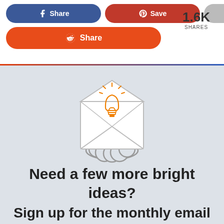[Figure (infographic): Share buttons: Facebook (blue), Pinterest (red), More (gray), Reddit (orange) share buttons with 1.6K SHARES count]
1.6K
SHARES
[Figure (illustration): An open envelope with a glowing orange lightbulb inside, sitting on a cloud — newsletter/bright ideas icon]
Need a few more bright ideas?
Sign up for the monthly email
newsletter to learn about my
latest content and tips for...